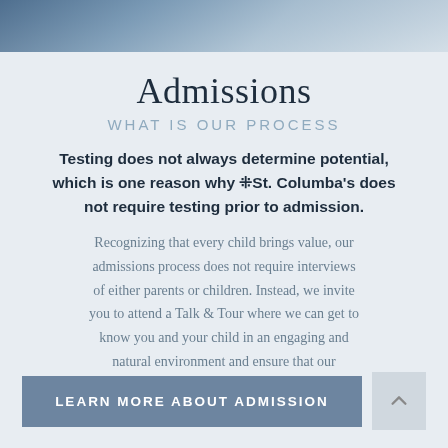[Figure (photo): Partial photo of a child or person at the top of the page, cropped strip]
Admissions
WHAT IS OUR PROCESS
Testing does not always determine potential, which is one reason why St. Columba's does not require testing prior to admission.
Recognizing that every child brings value, our admissions process does not require interviews of either parents or children. Instead, we invite you to attend a Talk & Tour where we can get to know you and your child in an engaging and natural environment and ensure that our program meets their needs.
LEARN MORE ABOUT ADMISSION